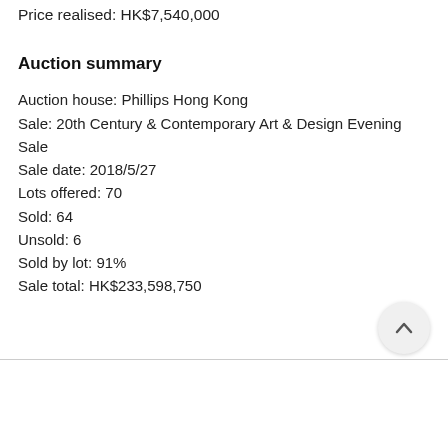Price realised: HK$7,540,000
Auction summary
Auction house: Phillips Hong Kong
Sale: 20th Century & Contemporary Art & Design Evening Sale
Sale date: 2018/5/27
Lots offered: 70
Sold: 64
Unsold: 6
Sold by lot: 91%
Sale total: HK$233,598,750